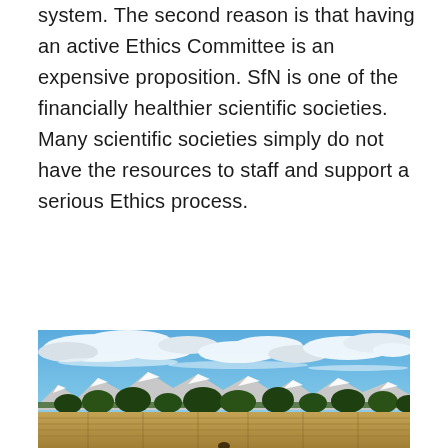system. The second reason is that having an active Ethics Committee is an expensive proposition. SfN is one of the financially healthier scientific societies. Many scientific societies simply do not have the resources to staff and support a serious Ethics process.
[Figure (photo): Outdoor landscape photograph showing a blue sky with white clouds in the upper portion, snow-capped mountains in the background, trees along the middle ground, and stacked hay bales in the foreground.]